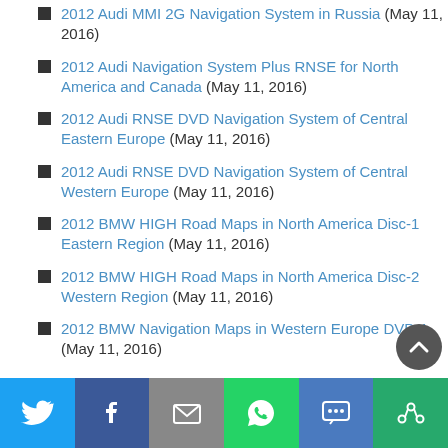2012 Audi MMI 2G Navigation System in Russia (May 11, 2016)
2012 Audi Navigation System Plus RNSE for North America and Canada (May 11, 2016)
2012 Audi RNSE DVD Navigation System of Central Eastern Europe (May 11, 2016)
2012 Audi RNSE DVD Navigation System of Central Western Europe (May 11, 2016)
2012 BMW HIGH Road Maps in North America Disc-1 Eastern Region (May 11, 2016)
2012 BMW HIGH Road Maps in North America Disc-2 Western Region (May 11, 2016)
2012 BMW Navigation Maps in Western Europe DVD-1 (May 11, 2016)
[Figure (infographic): Social share bar with Twitter, Facebook, Email, WhatsApp, SMS, and More buttons]